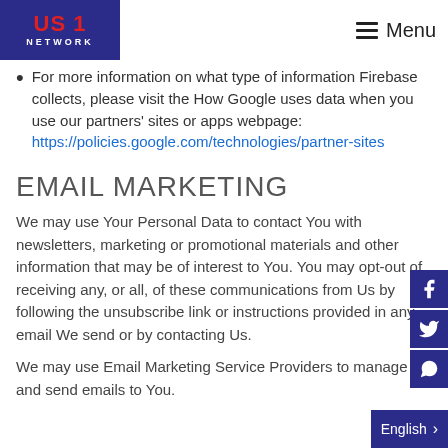US 1 NETWORK | Menu
For more information on what type of information Firebase collects, please visit the How Google uses data when you use our partners' sites or apps webpage: https://policies.google.com/technologies/partner-sites
EMAIL MARKETING
We may use Your Personal Data to contact You with newsletters, marketing or promotional materials and other information that may be of interest to You. You may opt-out of receiving any, or all, of these communications from Us by following the unsubscribe link or instructions provided in any email We send or by contacting Us.
We may use Email Marketing Service Providers to manage and send emails to You.